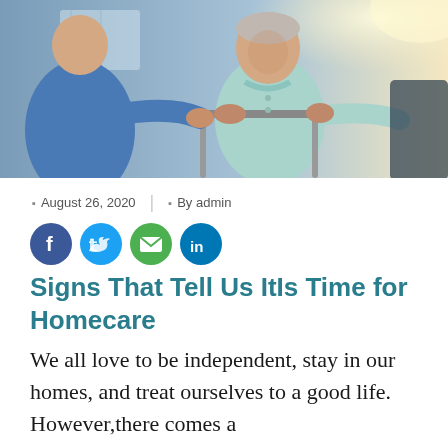[Figure (photo): A caregiver in blue scrubs assists an elderly man using a walker indoors, bright background.]
August 26, 2020  |  By admin
[Figure (infographic): Social share buttons: Facebook, Twitter, Email, LinkedIn]
Signs That Tell Us ItIs Time for Homecare
We all love to be independent, stay in our homes, and treat ourselves to a good life. However,there comes a